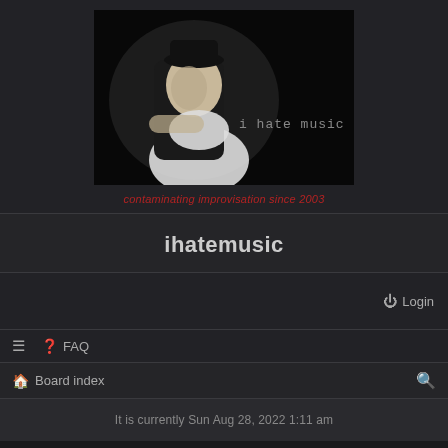[Figure (photo): Black and white photo of a person reclining in a chair with text 'i hate music' in monospace font on dark background — the site banner image]
contaminating improvisation since 2003
ihatemusic
Login
FAQ
Board index
It is currently Sun Aug 28, 2022 1:11 am